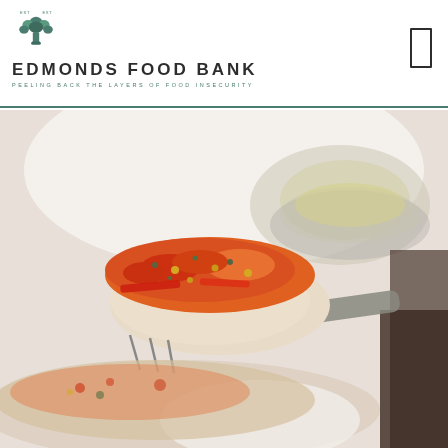EDMONDS FOOD BANK — PEELING BACK THE LAYERS OF FOOD INSECURITY
[Figure (photo): Close-up food photo of a piece of baked or roasted fish topped with colorful vegetables including red peppers, held on a fork over a plate of similar food, with a blurred bowl of food in the background]